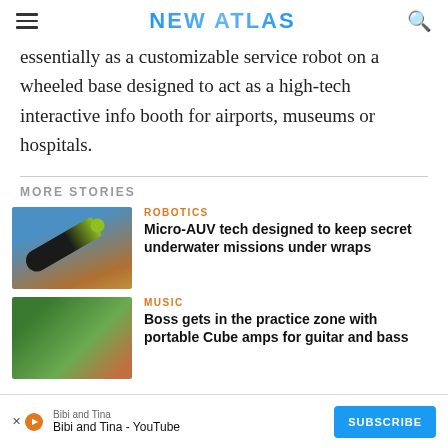NEW ATLAS
essentially as a customizable service robot on a wheeled base designed to act as a high-tech interactive info booth for airports, museums or hospitals.
MORE STORIES
[Figure (photo): Photo of a small torpedo-shaped underwater vehicle (black with yellow/green tip) on a reddish-brown surface against a blue background.]
ROBOTICS
Micro-AUV tech designed to keep secret underwater missions under wraps
[Figure (photo): Photo of two people sitting outdoors in a garden setting with plants and wooden structures.]
MUSIC
Boss gets in the practice zone with portable Cube amps for guitar and bass
Bibi and Tina
Bibi and Tina - YouTube
SUBSCRIBE